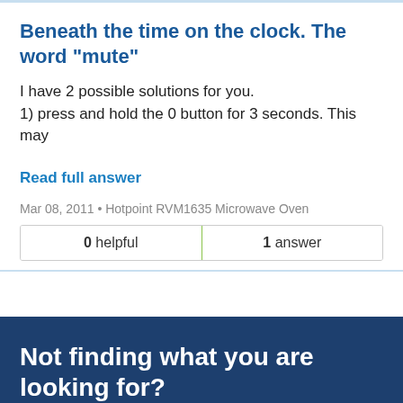Beneath the time on the clock. The word "mute"
I have 2 possible solutions for you.
1) press and hold the 0 button for 3 seconds. This may
Read full answer
Mar 08, 2011 • Hotpoint RVM1635 Microwave Oven
| 0 helpful | 1 answer |
| --- | --- |
Not finding what you are looking for?
Ask a Question